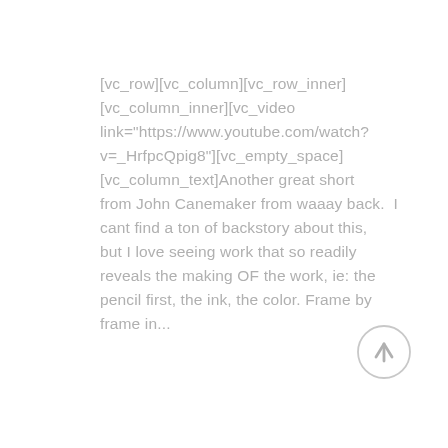[vc_row][vc_column][vc_row_inner][vc_column_inner][vc_video link="https://www.youtube.com/watch?v=_HrfpcQpig8"][vc_empty_space][vc_column_text]Another great short from John Canemaker from waaay back.  I cant find a ton of backstory about this, but I love seeing work that so readily reveals the making OF the work, ie: the pencil first, the ink, the color. Frame by frame in...
[Figure (other): Circular scroll-to-top button with an upward arrow icon, light gray border and arrow on white background]